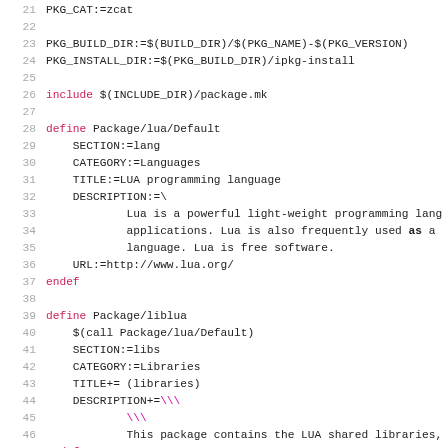Code snippet from a Makefile/build system configuration for Lua package, lines 21-52